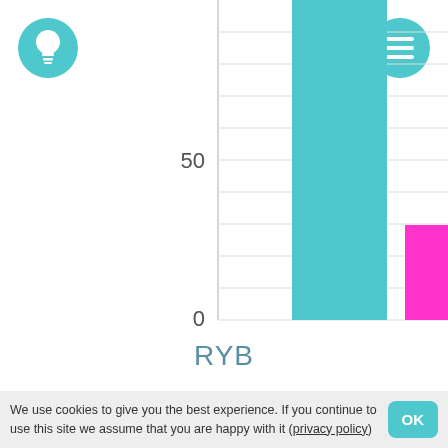[Figure (bar-chart): RYB]
RYB
[Figure (bar-chart): ]
100
We use cookies to give you the best experience. If you continue to use this site we assume that you are happy with it (privacy policy)